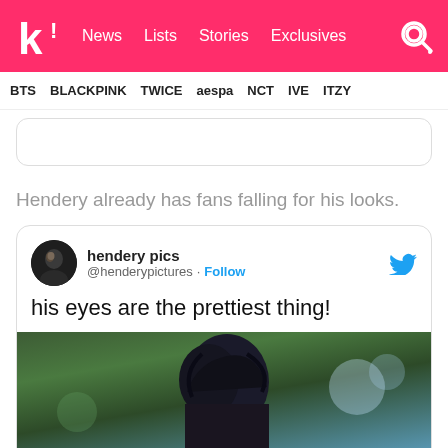k! News Lists Stories Exclusives
BTS BLACKPINK TWICE aespa NCT IVE ITZY
Hendery already has fans falling for his looks.
[Figure (screenshot): Embedded tweet from @henderypictures (hendery pics) with Follow button and Twitter bird icon, tweet text: 'his eyes are the prettiest thing!' followed by a photo of a person with dark hair outdoors with blurred green background]